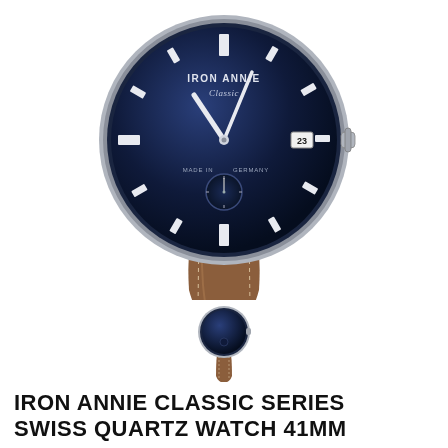[Figure (photo): Large product photo of Iron Annie Classic Series watch with deep blue dial, silver case, white hour markers, small seconds subdial at 6 o'clock, date window at 3 o'clock, and cognac brown leather strap with white stitching. Brand name 'IRON ANNIE Classic' printed at top of dial. 'MADE IN GERMANY' text around lower dial. Crown visible on right side of case.]
[Figure (photo): Small thumbnail image of the same Iron Annie Classic watch, showing the full watch with blue dial and brown leather strap.]
IRON ANNIE CLASSIC SERIES SWISS QUARTZ WATCH 41MM